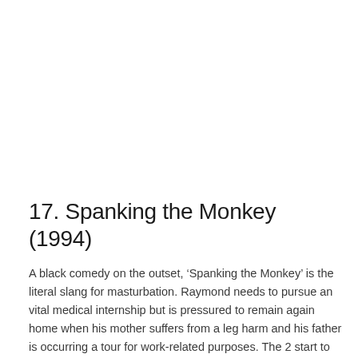17. Spanking the Monkey (1994)
A black comedy on the outset, ‘Spanking the Monkey’ is the literal slang for masturbation. Raymond needs to pursue an vital medical internship but is pressured to remain again home when his mother suffers from a leg harm and his father is occurring a tour for work-related purposes. The 2 start to develop an uncommon relationship that turns into an incestuous one as Raymond’s mental state beginning to deteriorate. Director David O. Russell, who then